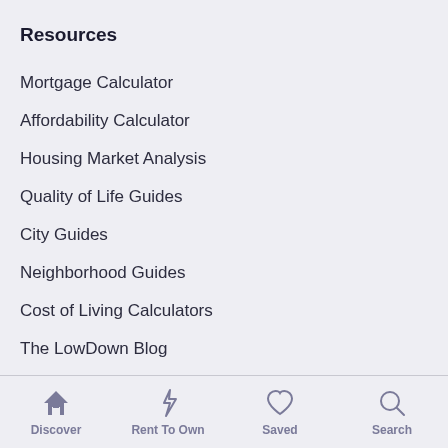Resources
Mortgage Calculator
Affordability Calculator
Housing Market Analysis
Quality of Life Guides
City Guides
Neighborhood Guides
Cost of Living Calculators
The LowDown Blog
Best Places To Live
Discover | Rent To Own | Saved | Search